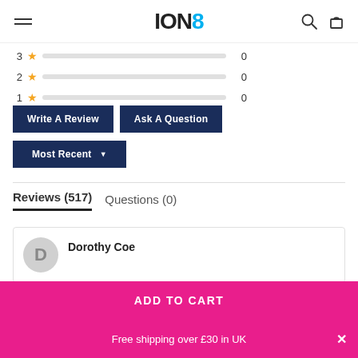ION8
3 ★ [bar] 0
2 ★ [bar] 0
1 ★ [bar] 0
Write A Review
Ask A Question
Most Recent ▼
Reviews (517)
Questions (0)
Dorothy Coe
ADD TO CART
Free shipping over £30 in UK